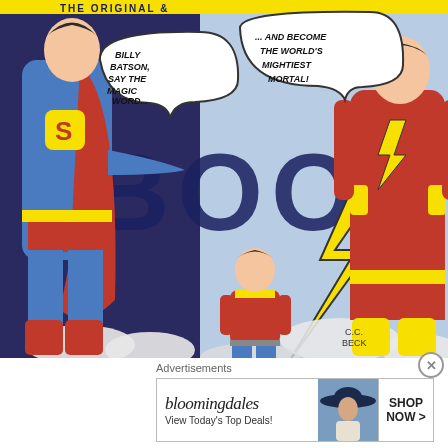[Figure (illustration): Comic book panel showing Superman on the left gesturing with speech bubble 'BILLY BATSON, SAY THE MAGIC WORD...', a second speech bubble '...AND BECOME THE WORLD'S MIGHTIEST MORTAL!' with an arrow pointing right to Captain Marvel/Shazam in red suit with lightning bolt emblem. In the center-bottom is a young boy (Billy Batson) in red shirt and blue jeans. Large 'BOOM' text in background with yellow lightning bolt. Artist credit: C.C. BECK.]
Advertisements
[Figure (screenshot): Bloomingdale's advertisement banner. Left side shows 'bloomingdales' brand name and 'View Today's Top Deals!' text. Center shows a woman in a wide-brim navy hat. Right side shows 'SHOP NOW >' button.]